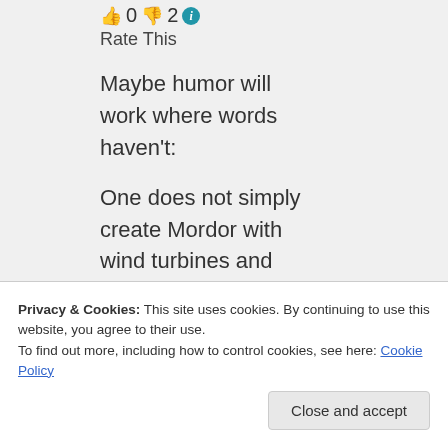👍 0 👎 2 ℹ Rate This
Maybe humor will work where words haven't:
One does not simply create Mordor with wind turbines and write it off as "green."
Privacy & Cookies: This site uses cookies. By continuing to use this website, you agree to their use. To find out more, including how to control cookies, see here: Cookie Policy